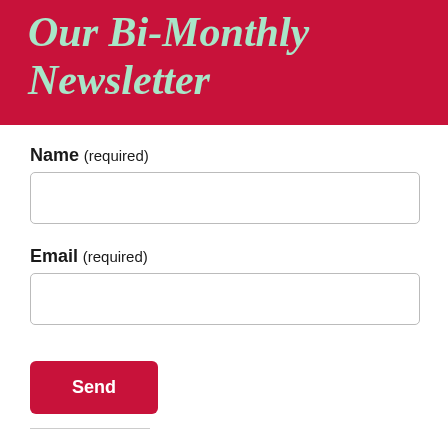Our Bi-Monthly Newsletter
Name (required)
[Figure (other): Empty name input text field]
Email (required)
[Figure (other): Empty email input text field]
Send